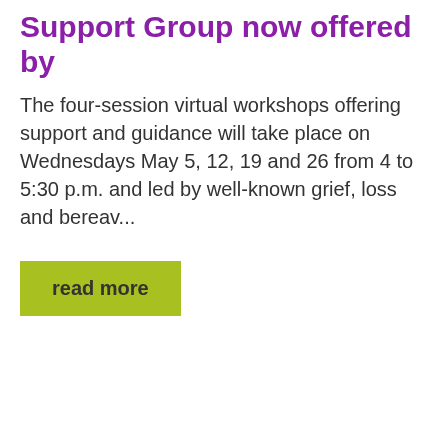Support Group now offered by
The four-session virtual workshops offering support and guidance will take place on Wednesdays May 5, 12, 19 and 26 from 4 to 5:30 p.m. and led by well-known grief, loss and bereav...
read more